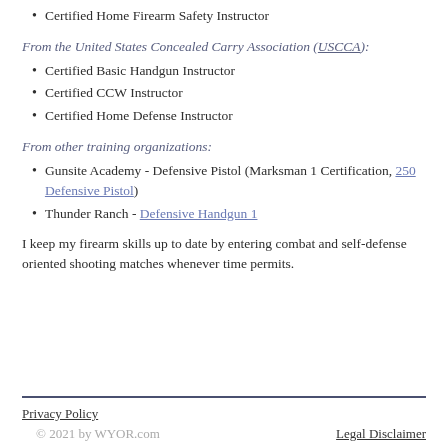Certified Home Firearm Safety Instructor
From the United States Concealed Carry Association (USCCA):
Certified Basic Handgun Instructor
Certified CCW Instructor
Certified Home Defense Instructor
From other training organizations:
Gunsite Academy - Defensive Pistol (Marksman 1 Certification, 250 Defensive Pistol)
Thunder Ranch - Defensive Handgun 1
I keep my firearm skills up to date by entering combat and self-defense oriented shooting matches whenever time permits.
Privacy Policy  © 2021 by WYOR.com  Legal Disclaimer